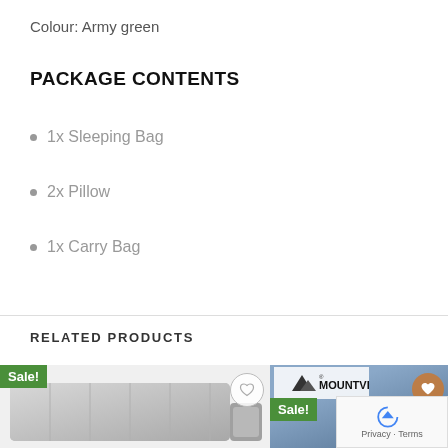Colour: Army green
PACKAGE CONTENTS
1x Sleeping Bag
2x Pillow
1x Carry Bag
RELATED PRODUCTS
[Figure (photo): Two related product images: a grey sleeping mat with a rolled mat accessory (Sale badge, wishlist button), and a blue sleeping bag with Mountview logo (Sale badge, wishlist button). A reCAPTCHA widget overlays the bottom right.]